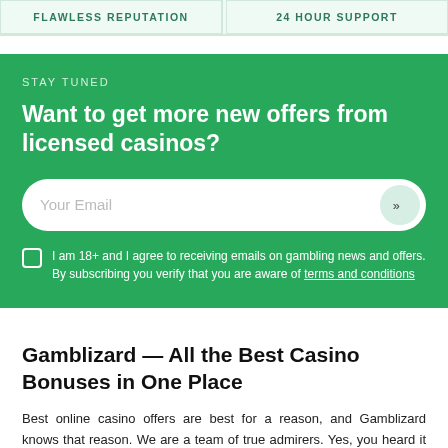FLAWLESS REPUTATION
24 HOUR SUPPORT
STAY TUNED
Want to get more new offers from licensed casinos?
Your Email
I am 18+ and I agree to receiving emails on gambling news and offers. By subscribing you verify that you are aware of terms and conditions
Gamblizard — All the Best Casino Bonuses in One Place
Best online casino offers are best for a reason, and Gamblizard knows that reason. We are a team of true admirers. Yes, you heard it right. We truly admire and love safe and exciting gambling experience. And we are willing to share it. Here at Gamblizard.com